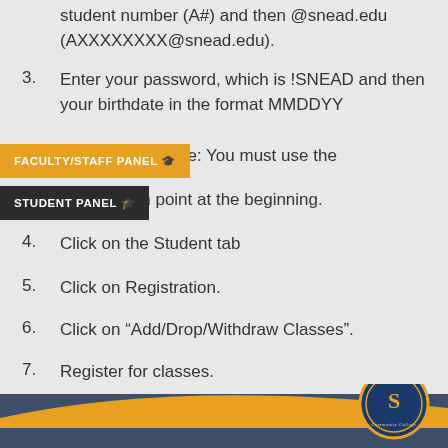student number (A#) and then @snead.edu (AXXXXXXXX@snead.edu).
3. Enter your password, which is !SNEAD and then your birthdate in the format MMDDYY (!MMDDYY). Note: You must use the exclamation point at the beginning.
[Figure (screenshot): Navigation panel overlay showing 'FACULTY/STAFF PANEL' in gold/orange and 'STUDENT PANEL' in dark/black buttons with icons]
4. Click on the Student tab
5. Click on Registration.
6. Click on "Add/Drop/Withdraw Classes".
7. Register for classes.
[Figure (logo): Snead State Community College circular seal in bottom right corner]